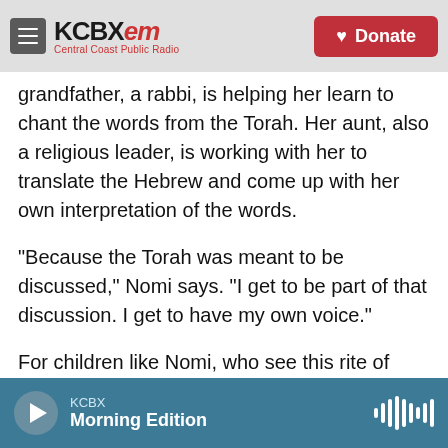KCBX FM — Central Coast Public Radio | Donate
grandfather, a rabbi, is helping her learn to chant the words from the Torah. Her aunt, also a religious leader, is working with her to translate the Hebrew and come up with her own interpretation of the words.
"Because the Torah was meant to be discussed," Nomi says. "I get to be part of that discussion. I get to have my own voice."
For children like Nomi, who see this rite of passage as a basic human right, it can be surprising to realize how recent the history of the bat mitzvah
KCBX — Morning Edition